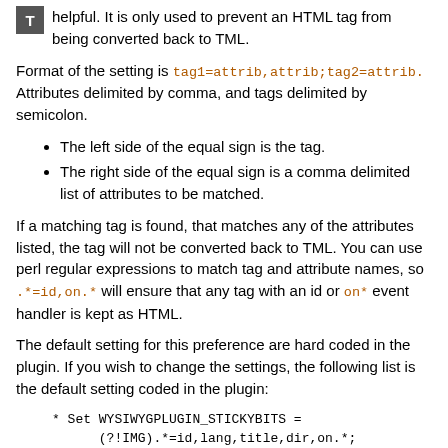helpful. It is only used to prevent an HTML tag from being converted back to TML.
Format of the setting is tag1=attrib,attrib;tag2=attrib. Attributes delimited by comma, and tags delimited by semicolon.
The left side of the equal sign is the tag.
The right side of the equal sign is a comma delimited list of attributes to be matched.
If a matching tag is found, that matches any of the attributes listed, the tag will not be converted back to TML. You can use perl regular expressions to match tag and attribute names, so .*=id,on.* will ensure that any tag with an id or on* event handler is kept as HTML.
The default setting for this preference are hard coded in the plugin. If you wish to change the settings, the following list is the default setting coded in the plugin:
* Set WYSIWYGPLUGIN_STICKYBITS =
      (?!IMG).*=id,lang,title,dir,on.*;
      A=accesskey,coords,shape,target;